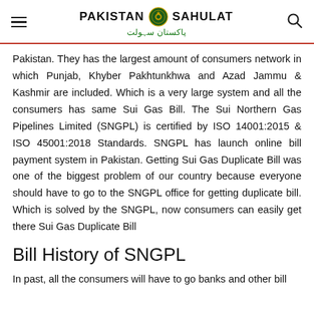Pakistan Sahulat — پاکستان سہولت
Pakistan. They has the largest amount of consumers network in which Punjab, Khyber Pakhtunkhwa and Azad Jammu & Kashmir are included. Which is a very large system and all the consumers has same Sui Gas Bill. The Sui Northern Gas Pipelines Limited (SNGPL) is certified by ISO 14001:2015 & ISO 45001:2018 Standards. SNGPL has launch online bill payment system in Pakistan. Getting Sui Gas Duplicate Bill was one of the biggest problem of our country because everyone should have to go to the SNGPL office for getting duplicate bill. Which is solved by the SNGPL, now consumers can easily get there Sui Gas Duplicate Bill
Bill History of SNGPL
In past, all the consumers will have to go banks and other bill